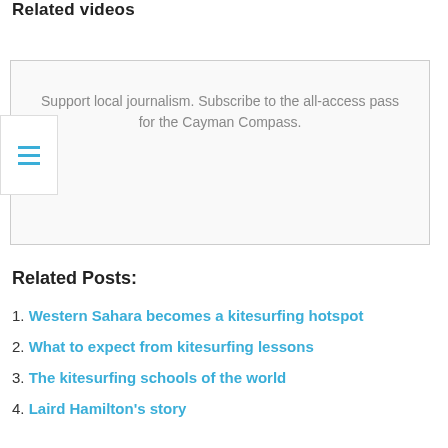Related videos
Support local journalism. Subscribe to the all-access pass for the Cayman Compass.
Related Posts:
Western Sahara becomes a kitesurfing hotspot
What to expect from kitesurfing lessons
The kitesurfing schools of the world
Laird Hamilton's story